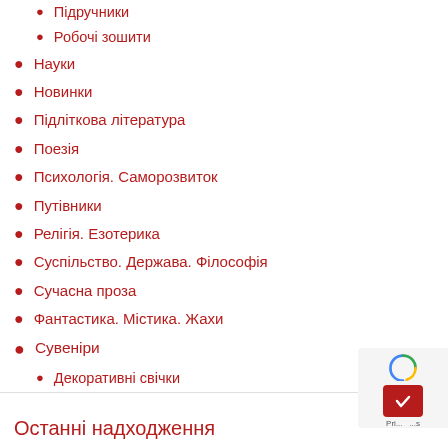Підручники
Робочі зошити
Науки
Новинки
Підліткова література
Поезія
Психологія. Саморозвиток
Путівники
Релігія. Езотерика
Суспільство. Держава. Філософія
Сучасна проза
Фантастика. Містика. Жахи
Сувеніри
Декоративні свічки
Останні надходження